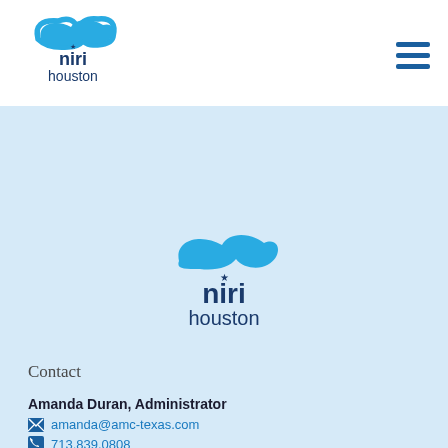[Figure (logo): NIRI Houston logo in white header bar, top-left, with dark blue text and cyan swoosh icon]
[Figure (logo): Hamburger menu icon (three horizontal dark blue lines) in top-right of white header]
[Figure (logo): NIRI Houston logo centered in light blue content area, larger version with cyan swoosh icon]
Contact
Amanda Duran, Administrator
amanda@amc-texas.com
713.839.0808
Email Alerts